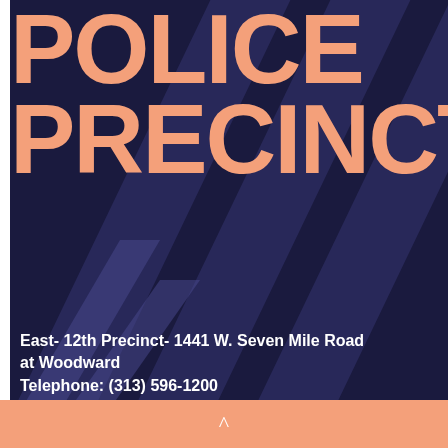POLICE PRECINCTS
East- 12th Precinct- 1441 W. Seven Mile Road at Woodward
Telephone: (313) 596-1200
West-8th Precinct- 2155 W. McNichols at Gr...
Telephone: (313) 596-5800
South-10th Precinct-1200 Livernois, Detroit [...]
Elmhurst
Telephone: (313) 596-1000
^